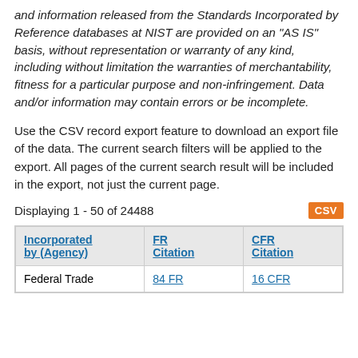and information released from the Standards Incorporated by Reference databases at NIST are provided on an "AS IS" basis, without representation or warranty of any kind, including without limitation the warranties of merchantability, fitness for a particular purpose and non-infringement. Data and/or information may contain errors or be incomplete.
Use the CSV record export feature to download an export file of the data. The current search filters will be applied to the export. All pages of the current search result will be included in the export, not just the current page.
Displaying 1 - 50 of 24488
| Incorporated by (Agency) | FR Citation | CFR Citation | Docu... |
| --- | --- | --- | --- |
| Federal Trade | 84 FR | 16 CFR |  |